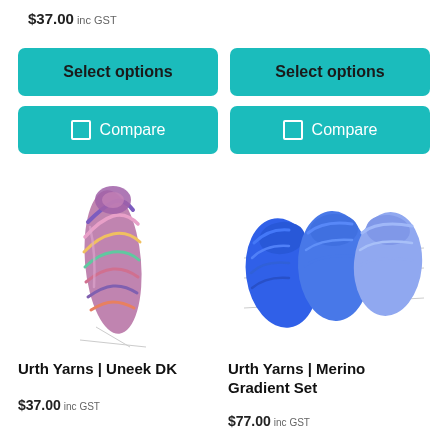$37.00 inc GST
Select options
Select options
Compare
Compare
[Figure (photo): Skein of multicolor (purple, pink, green, orange) DK weight yarn twisted upright on white background]
[Figure (photo): Three skeins of blue gradient merino yarn arranged in a row on white background, ranging from bright blue to light periwinkle]
Urth Yarns | Uneek DK
$37.00 inc GST
Urth Yarns | Merino Gradient Set
$77.00 inc GST